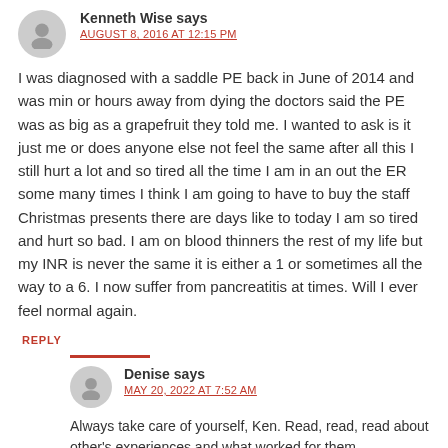Kenneth Wise says
AUGUST 8, 2016 AT 12:15 PM
I was diagnosed with a saddle PE back in June of 2014 and was min or hours away from dying the doctors said the PE was as big as a grapefruit they told me. I wanted to ask is it just me or does anyone else not feel the same after all this I still hurt a lot and so tired all the time I am in an out the ER some many times I think I am going to have to buy the staff Christmas presents there are days like to today I am so tired and hurt so bad. I am on blood thinners the rest of my life but my INR is never the same it is either a 1 or sometimes all the way to a 6. I now suffer from pancreatitis at times. Will I ever feel normal again.
REPLY
Denise says
MAY 20, 2022 AT 7:52 AM
Always take care of yourself, Ken. Read, read, read about other's experiences and what worked for them.
I had large clots in a calf and both lungs, but no pain. One